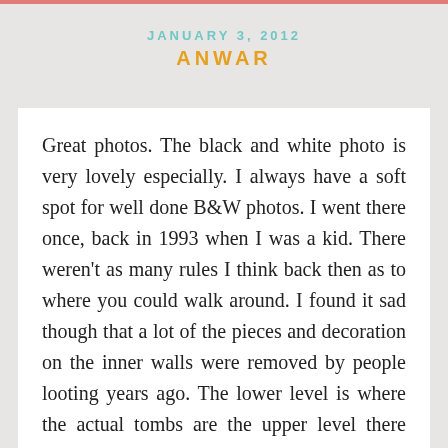JANUARY 3, 2012
ANWAR
Great photos. The black and white photo is very lovely especially. I always have a soft spot for well done B&W photos. I went there once, back in 1993 when I was a kid. There weren't as many rules I think back then as to where you could walk around. I found it sad though that a lot of the pieces and decoration on the inner walls were removed by people looting years ago. The lower level is where the actual tombs are the upper level there aren't tombs but just there to represent those at the lower level. Also the only thing out of alignment is the tomb of shah